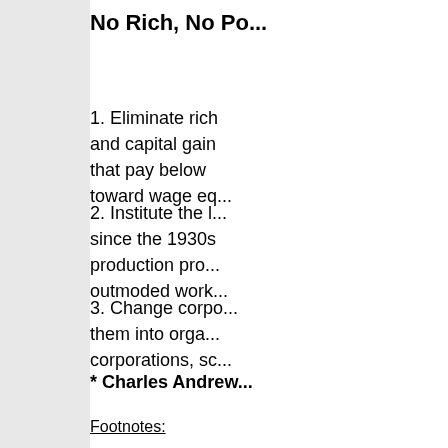No Rich, No Po...
1. Eliminate rich... and capital gain... that pay below... toward wage eq...
2. Institute the l... since the 1930s... production pro... outmoded work...
3. Change corpo... them into orga... corporations, sc...
* Charles Andrew...
Footnotes: